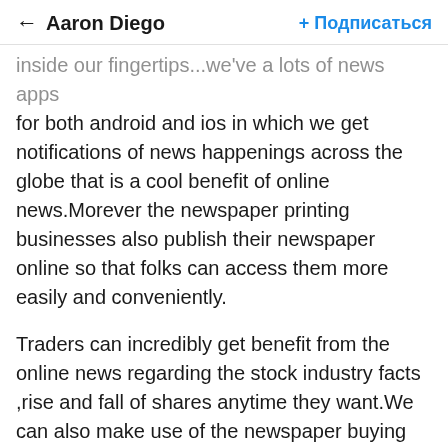← Aaron Diego  + Подписаться
inside our fingertips...we've a lots of news apps for both android and ios in which we get notifications of news happenings across the globe that is a cool benefit of online news.Morever the newspaper printing businesses also publish their newspaper online so that folks can access them more easily and conveniently.
Traders can incredibly get benefit from the online news regarding the stock industry facts ,rise and fall of shares anytime they want.We can also make use of the newspaper buying price inside a extra productive and constructive way.Online news is also a big opportunitiy for the advertisers.They are able to publish their gives and advertisements inside the breaking news or any well-known news